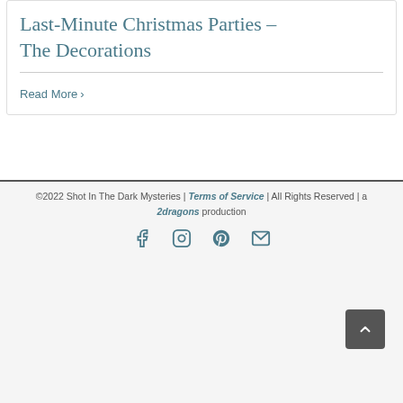Last-Minute Christmas Parties – The Decorations
Read More >
©2022 Shot In The Dark Mysteries | Terms of Service | All Rights Reserved | a 2dragons production